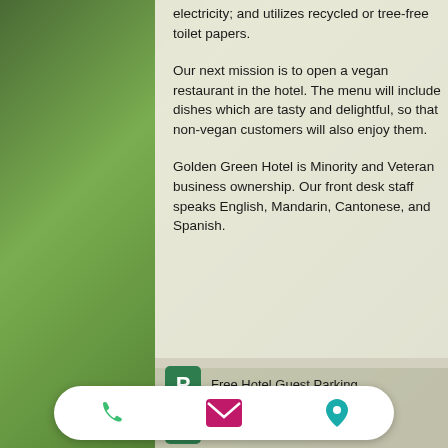electricity; and utilizes recycled or tree-free toilet papers.
Our next mission is to open a vegan restaurant in the hotel. The menu will include dishes which are tasty and delightful, so that non-vegan customers will also enjoy them.
Golden Green Hotel is Minority and Veteran business ownership. Our front desk staff speaks English, Mandarin, Cantonese, and Spanish.
Free Hotel Guest Parking
Non-Smoking Facility
transportation
[Figure (infographic): Bottom action bar with phone (green), email (pink/magenta), and location/map (teal) icons on white pill-shaped background]